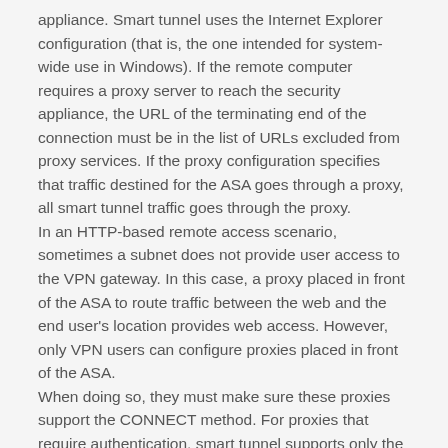appliance. Smart tunnel uses the Internet Explorer configuration (that is, the one intended for system-wide use in Windows). If the remote computer requires a proxy server to reach the security appliance, the URL of the terminating end of the connection must be in the list of URLs excluded from proxy services. If the proxy configuration specifies that traffic destined for the ASA goes through a proxy, all smart tunnel traffic goes through the proxy. In an HTTP-based remote access scenario, sometimes a subnet does not provide user access to the VPN gateway. In this case, a proxy placed in front of the ASA to route traffic between the web and the end user's location provides web access. However, only VPN users can configure proxies placed in front of the ASA. When doing so, they must make sure these proxies support the CONNECT method. For proxies that require authentication, smart tunnel supports only the basic digest authentication type.